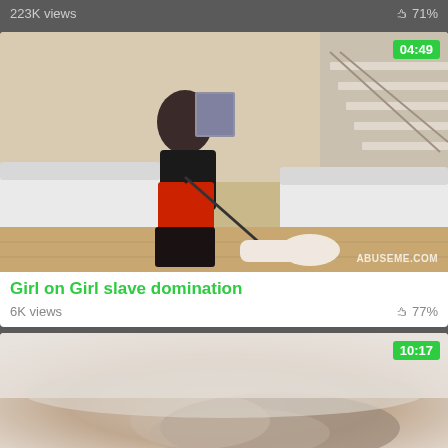223K views   71%
[Figure (photo): Video thumbnail showing two women in a domination scene in a living room with stairs, watermark ABUSEME.COM, duration badge 04:49]
Girl on Girl slave domination
6K views   77%
[Figure (photo): Video thumbnail showing a close-up blurry scene, duration badge 10:17]